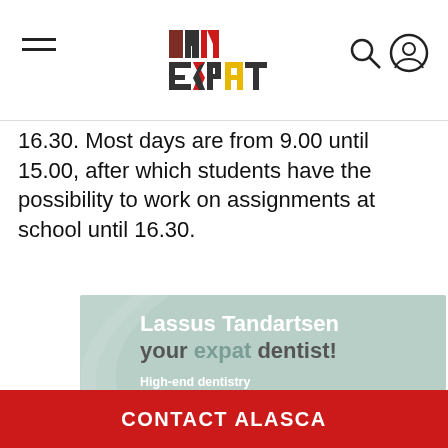I AM EXPAT
16.30. Most days are from 9.00 until 15.00, after which students have the possibility to work on assignments at school until 16.30.
[Figure (infographic): Lassus Tandartsen advertisement banner with teal/mint background. Text reads: 'Lassus Tandartsen your expat dentist!' with bullet points: High-end dentistry, International staff, Multiple specializations in house, Open 7 days a week including evening hours, www.lassus.nl]
CONTACT ALASCA